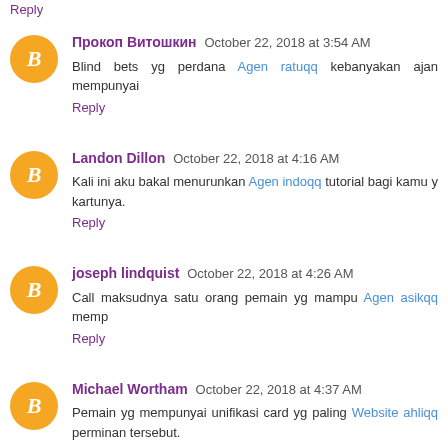Reply
Прокоп Витошкин  October 22, 2018 at 3:54 AM
Blind bets yg perdana Agen ratuqq kebanyakan ajan mempunyai
Reply
Landon Dillon  October 22, 2018 at 4:16 AM
Kali ini aku bakal menurunkan Agen indoqq tutorial bagi kamu y kartunya.
Reply
joseph lindquist  October 22, 2018 at 4:26 AM
Call maksudnya satu orang pemain yg mampu Agen asikqq memp
Reply
Michael Wortham  October 22, 2018 at 4:37 AM
Pemain yg mempunyai unifikasi card yg paling Website ahliqq perminan tersebut.